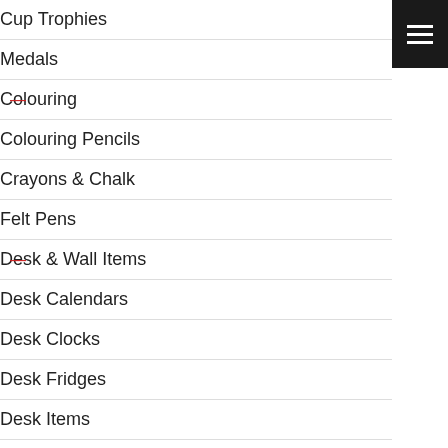Cup Trophies
Medals
Colouring
Colouring Pencils
Crayons & Chalk
Felt Pens
Desk & Wall Items
Desk Calendars
Desk Clocks
Desk Fridges
Desk Items
Memo Notes & Pads
Photo Frames
Wall Clocks
White Boards
Notebooks & Diaries
Diaries